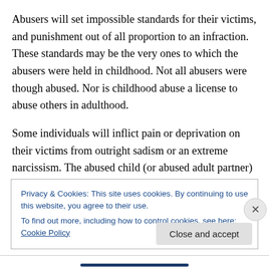Abusers will set impossible standards for their victims, and punishment out of all proportion to an infraction. These standards may be the very ones to which the abusers were held in childhood. Not all abusers were though abused. Nor is childhood abuse a license to abuse others in adulthood.
Some individuals will inflict pain or deprivation on their victims from outright sadism or an extreme narcissism. The abused child (or abused adult partner) is viewed as a representative of the abuser before the world. All the
Privacy & Cookies: This site uses cookies. By continuing to use this website, you agree to their use.
To find out more, including how to control cookies, see here: Cookie Policy
Close and accept